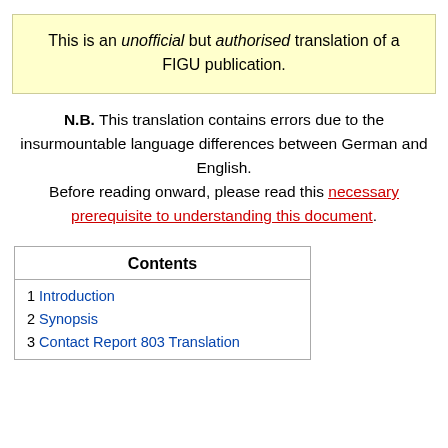This is an unofficial but authorised translation of a FIGU publication.
N.B. This translation contains errors due to the insurmountable language differences between German and English. Before reading onward, please read this necessary prerequisite to understanding this document.
Contents
1 Introduction
2 Synopsis
3 Contact Report 803 Translation